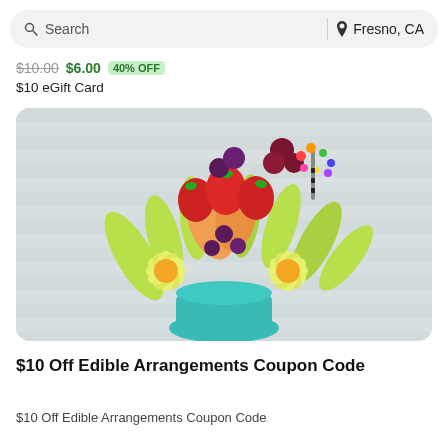Search | Fresno, CA
$10.00 $6.00 40% OFF
$10 eGift Card
[Figure (photo): Edible Arrangements fruit bouquet with flower-shaped pineapple pieces, strawberries, grapes, cantaloupe, and honeydew melon in a teal vase]
$10 Off Edible Arrangements Coupon Code
$10 Off Edible Arrangements Coupon Code